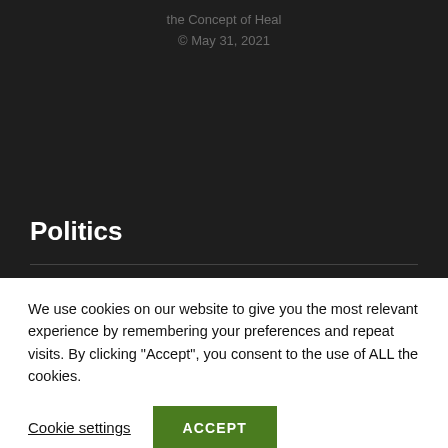the Concept of Heal
© May 31, 2021
Politics
We use cookies on our website to give you the most relevant experience by remembering your preferences and repeat visits. By clicking “Accept”, you consent to the use of ALL the cookies.
Cookie settings
ACCEPT